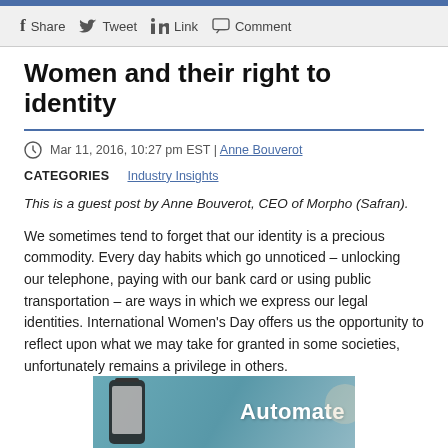f Share  Tweet  in  Link  Comment
Women and their right to identity
Mar 11, 2016, 10:27 pm EST | Anne Bouverot
CATEGORIES   Industry Insights
This is a guest post by Anne Bouverot, CEO of Morpho (Safran).
We sometimes tend to forget that our identity is a precious commodity. Every day habits which go unnoticed – unlocking our telephone, paying with our bank card or using public transportation – are ways in which we express our legal identities. International Women's Day offers us the opportunity to reflect upon what we may take for granted in some societies, unfortunately remains a privilege in others.
[Figure (photo): Advertisement banner with the word 'Automate' on a blue-teal background with a phone visible]